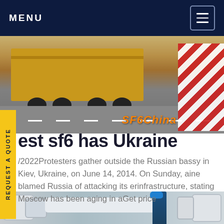MENU
[Figure (photo): Trucks on a road with red and white barriers and SF6China watermark]
est sf6 has Ukraine
/2022Protesters gather outside the Russian bassy in Kiev, Ukraine, on June 14, 2014. On Sunday, aine blamed Russia of attacking its erinfrastructure, stating Moscow has been aging in aGet price
[Figure (photo): Industrial gas cylinders and tanks at a facility with a worker in blue PPE]